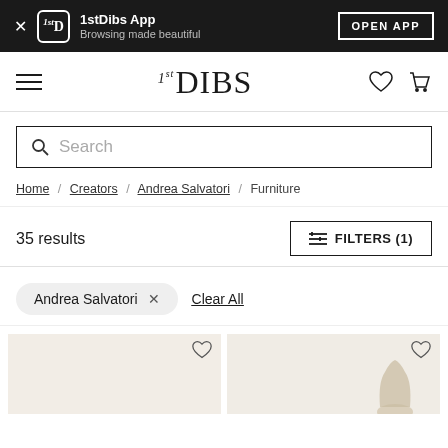1stDibs App — Browsing made beautiful — OPEN APP
[Figure (screenshot): 1stDibs navigation bar with hamburger menu, logo, heart and cart icons]
Search
Home / Creators / Andrea Salvatori / Furniture
35 results
FILTERS (1)
Andrea Salvatori × Clear All
[Figure (photo): Product thumbnails showing Andrea Salvatori furniture items with heart/wishlist icons]